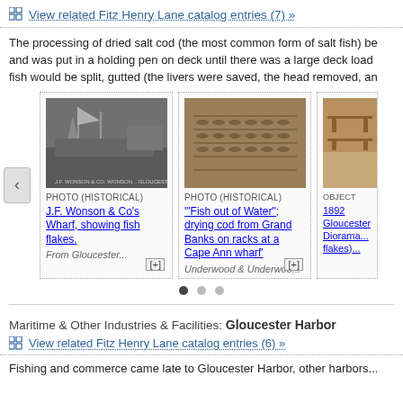View related Fitz Henry Lane catalog entries (7) »
The processing of dried salt cod (the most common form of salt fish) be and was put in a holding pen on deck until there was a large deck load fish would be split, gutted (the livers were saved, the head removed, an
[Figure (photo): Black and white historical photo of J.F. Wonson & Co's Wharf showing fish flakes and sailing vessels, from Gloucester]
PHOTO (HISTORICAL)
J.F. Wonson & Co's Wharf, showing fish flakes.
From Gloucester...
[Figure (photo): Historical sepia photo of fish drying on racks - Fish out of Water; drying cod from Grand Banks on racks at a Cape Ann wharf]
PHOTO (HISTORICAL)
"Fish out of Water"; drying cod from Grand Banks on racks at a Cape Ann wharf
Underwood & Underwoo...
[Figure (photo): Partial view of an object - 1892 Gloucester Diorama with fish flakes, cut off on right edge]
OBJECT
1892 Gloucester Diorama... flakes)...
Maritime & Other Industries & Facilities: Gloucester Harbor
View related Fitz Henry Lane catalog entries (6) »
Fishing and commerce came late to Gloucester Harbor, other harbors...